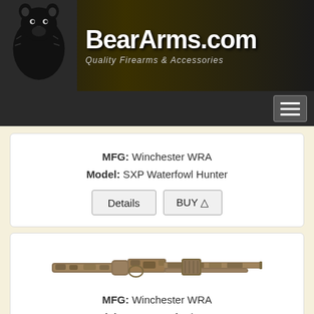[Figure (logo): BearArms.com logo with bear illustration and tagline 'Quality Firearms & Accessories' on dark gradient banner]
BearArms.com — Quality Firearms & Accessories (navigation bar with hamburger menu)
MFG: Winchester WRA
Model: SXP Waterfowl Hunter
Details | BUY
[Figure (photo): Photo of a camouflage-pattern shotgun (Winchester SXP Waterfowl Hunter)]
MFG: Winchester WRA
Model: SXP Waterfowl Hunter
Details | BUY